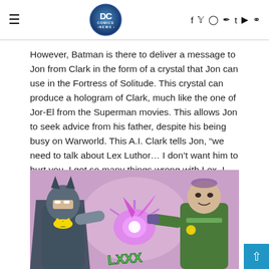DC Comics News header with logo and social media icons
However, Batman is there to deliver a message to Jon from Clark in the form of a crystal that Jon can use in the Fortress of Solitude. This crystal can produce a hologram of Clark, much like the one of Jor-El from the Superman movies. This allows Jon to seek advice from his father, despite his being busy on Warworld. This A.I. Clark tells Jon, “we need to talk about Lex Luthor… I don’t want him to hurt you. I got so many things wrong with Lex. I don’t want you to make the same mistakes”.
[Figure (illustration): Comic book illustration showing Batman on the left and Lex Luthor in green armor on the right, with a bright purple/pink energy blast between them on a purple background.]